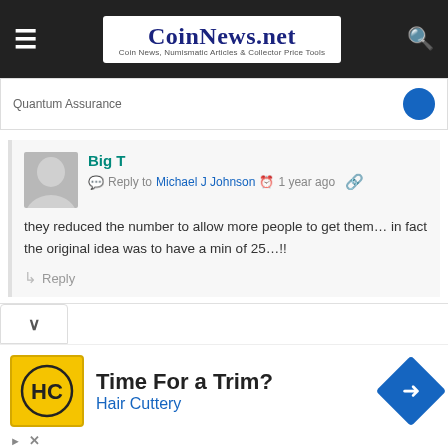CoinNews.net — Coin News, Numismatic Articles & Collector Price Tools
Quantum Assurance
Big T
Reply to Michael J Johnson  1 year ago
they reduced the number to allow more people to get them… in fact the original idea was to have a min of 25…!!
Reply
[Figure (other): Advertisement for Hair Cuttery: Time For a Trim? Hair Cuttery, with HC logo and blue navigation diamond icon]